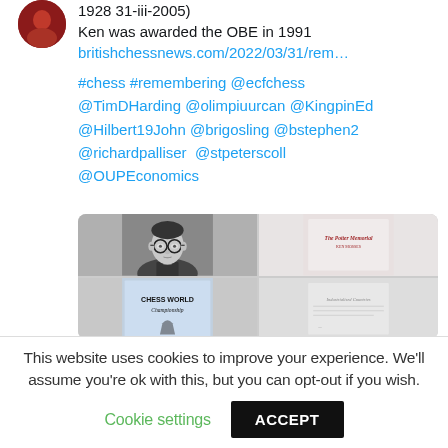[Figure (photo): Red circular avatar icon (partial, at top-left)]
1928 31-iii-2005)
Ken was awarded the OBE in 1991
britishchessnews.com/2022/03/31/rem…
#chess #remembering @ecfchess @TimDHarding @olimpiuurcan @KingpinEd @Hilbert19John @brigosling @bstephen2 @richardpalliser @stpeterscoll @OUPEconomics
[Figure (photo): 2x2 grid of images: top-left shows a black and white headshot of a man with glasses; top-right shows a document or book cover with text 'The Potter Memorial Ken Mosses'; bottom-left shows a book cover 'CHESS WORLD Championship'; bottom-right shows a document with text 'Industrialised Countries']
This website uses cookies to improve your experience. We'll assume you're ok with this, but you can opt-out if you wish.
Cookie settings
ACCEPT